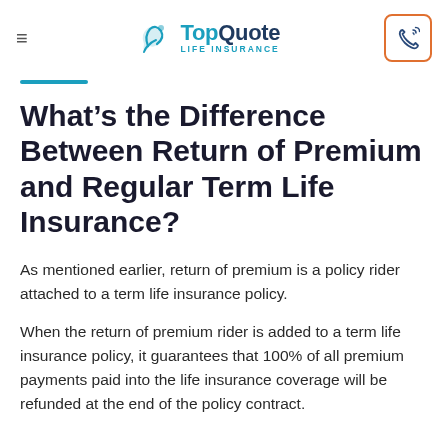TopQuote LIFE INSURANCE
What’s the Difference Between Return of Premium and Regular Term Life Insurance?
As mentioned earlier, return of premium is a policy rider attached to a term life insurance policy.
When the return of premium rider is added to a term life insurance policy, it guarantees that 100% of all premium payments paid into the life insurance coverage will be refunded at the end of the policy contract.